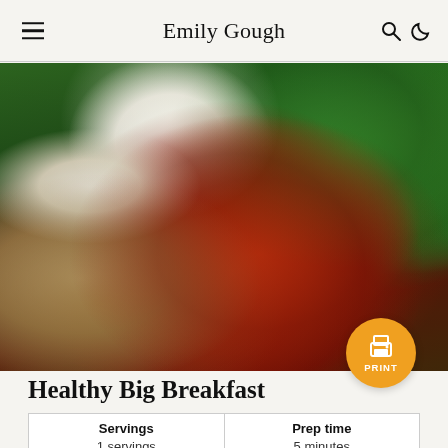Emily Gough
[Figure (photo): Close-up photo of a healthy big breakfast plate featuring grilled tomato, poached egg on toast, sautéed greens, and fresh basil leaves]
Healthy Big Breakfast
| Servings | Prep time |
| --- | --- |
| 1 servings | 5 minutes |